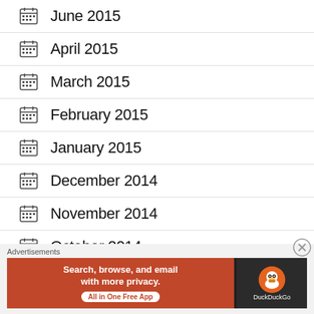June 2015
April 2015
March 2015
February 2015
January 2015
December 2014
November 2014
October 2014
Advertisements
[Figure (screenshot): DuckDuckGo advertisement banner: orange left panel with text 'Search, browse, and email with more privacy. All in One Free App', dark right panel with DuckDuckGo logo and duck icon]